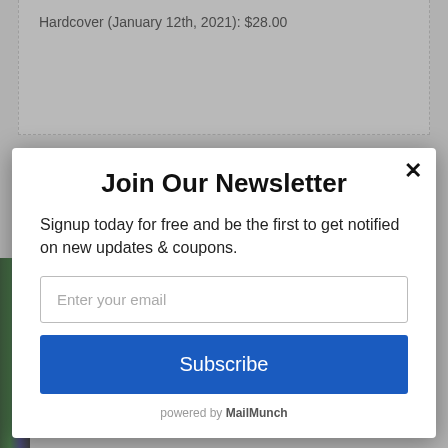Hardcover (January 12th, 2021): $28.00
Browse Books by Category
Join Our Newsletter
Signup today for free and be the first to get notified on new updates & coupons.
Enter your email
Subscribe
powered by MailMunch